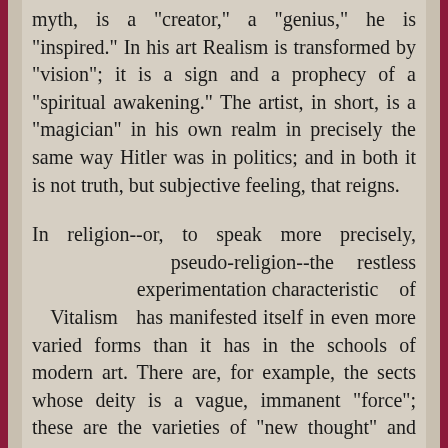myth, is a "creator," a "genius," he is "inspired." In his art Realism is transformed by "vision"; it is a sign and a prophecy of a "spiritual awakening." The artist, in short, is a "magician" in his own realm in precisely the same way Hitler was in politics; and in both it is not truth, but subjective feeling, that reigns.
In religion--or, to speak more precisely, pseudo-religion--the restless experimentation characteristic of Vitalism has manifested itself in even more varied forms than it has in the schools of modern art. There are, for example, the sects whose deity is a vague, immanent "force"; these are the varieties of "new thought" and "positive thinking," whose concern is